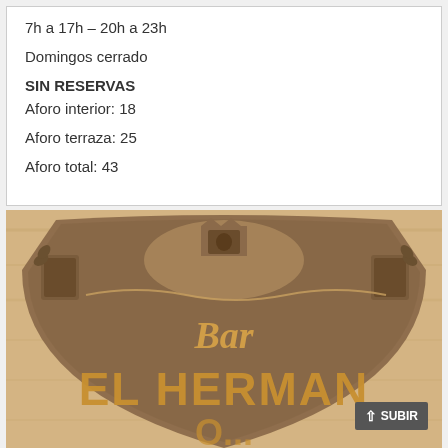7h a 17h – 20h a 23h
Domingos cerrado
SIN RESERVAS
Aforo interior: 18
Aforo terraza: 25
Aforo total: 43
[Figure (photo): Bronze or cast metal plaque sign for 'Bar El Hermano' with decorative heraldic shields/coat of arms on top. The sign shows cursive 'Bar' text in the middle and large bold 'EL HERMAN' letters below, with more text partially visible. Background shows wooden surface. A 'SUBIR' button overlay is visible in bottom right corner.]